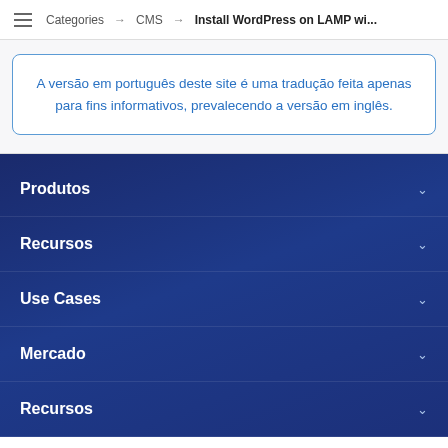Categories → CMS → Install WordPress on LAMP wi...
A versão em português deste site é uma tradução feita apenas para fins informativos, prevalecendo a versão em inglês.
Produtos
Recursos
Use Cases
Mercado
Recursos